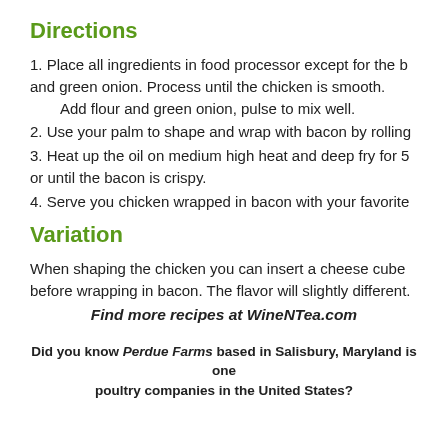Directions
1. Place all ingredients in food processor except for the b and green onion. Process until the chicken is smooth. Add flour and green onion, pulse to mix well.
2. Use your palm to shape and wrap with bacon by rolling
3. Heat up the oil on medium high heat and deep fry for 5 or until the bacon is crispy.
4. Serve you chicken wrapped in bacon with your favorite
Variation
When shaping the chicken you can insert a cheese cube before wrapping in bacon. The flavor will slightly different.
Find more recipes at WineNTea.com
Did you know Perdue Farms based in Salisbury, Maryland is one poultry companies in the United States?